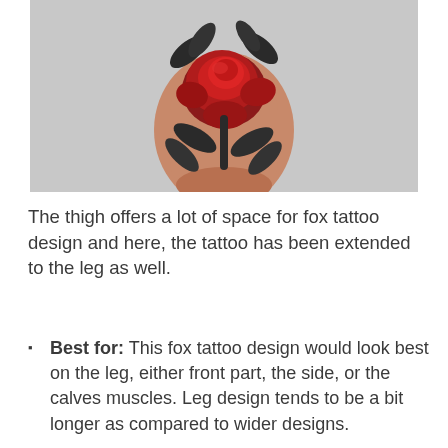[Figure (photo): A realistic red rose tattoo with dark green leaves on a human hand/thigh area, photographed against a light background.]
The thigh offers a lot of space for fox tattoo design and here, the tattoo has been extended to the leg as well.
Best for: This fox tattoo design would look best on the leg, either front part, the side, or the calves muscles. Leg design tends to be a bit longer as compared to wider designs.
Preferable ink: Colors can be added to a fox tattoo design if it is on a visible part of the